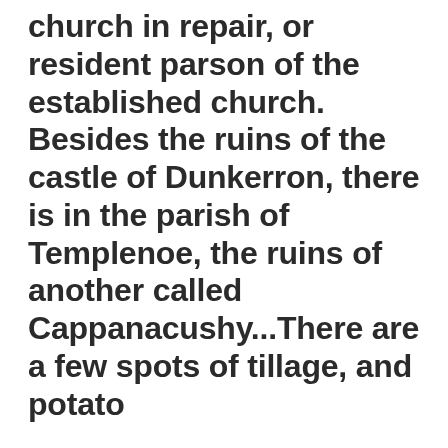church in repair, or resident parson of the established church. Besides the ruins of the castle of Dunkerron, there is in the parish of Templenoe, the ruins of another called Cappanacushy...There are a few spots of tillage, and potato